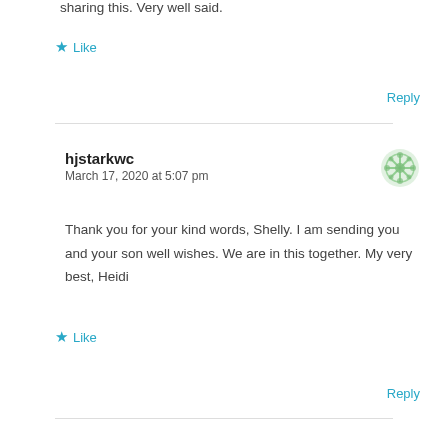sharing this. Very well said.
Like
Reply
hjstarkwc
March 17, 2020 at 5:07 pm
Thank you for your kind words, Shelly. I am sending you and your son well wishes. We are in this together. My very best, Heidi
Like
Reply